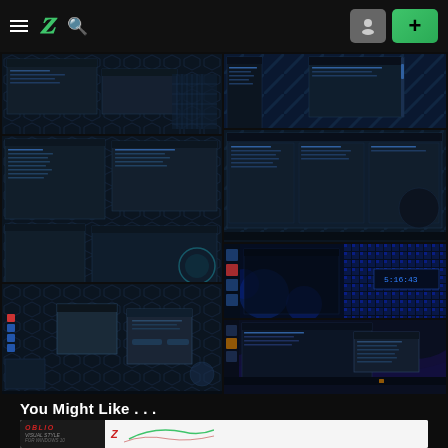DeviantArt navigation bar with hamburger menu, DeviantArt logo, search icon, user icon, and plus button
[Figure (screenshot): Grid of 7 Windows desktop theme screenshots showing dark hexagonal pattern themes for Windows 10, arranged in 2 columns]
You Might Like . . .
[Figure (screenshot): Preview banner for 'OBLIO VISUAL STYLE FOR WINDOWS 10' theme with DeviantArt logo and green/red design elements]